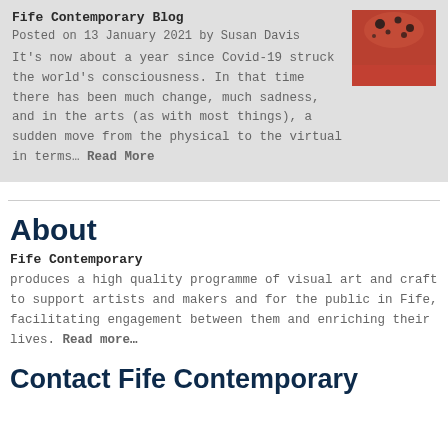Fife Contemporary Blog
Posted on 13 January 2021 by Susan Davis
It's now about a year since Covid-19 struck the world's consciousness. In that time there has been much change, much sadness, and in the arts (as with most things), a sudden move from the physical to the virtual in terms... Read More
[Figure (photo): Close-up photo showing a red/orange surface with dark textured marks or insects]
About
Fife Contemporary
produces a high quality programme of visual art and craft to support artists and makers and for the public in Fife, facilitating engagement between them and enriching their lives. Read more...
Contact Fife Contemporary